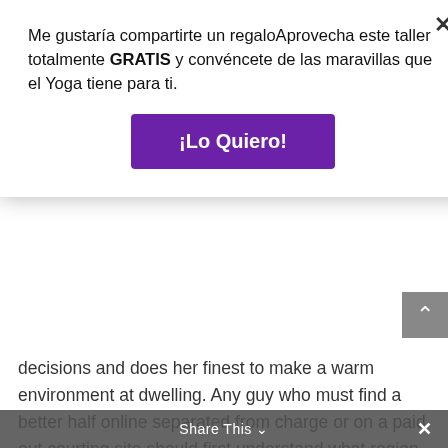Me gustaría compartirte un regaloAprovecha este taller totalmente GRATIS y convéncete de las maravillas que el Yoga tiene para ti.
¡Lo Quiero!
decisions and does her finest to make a warm environment at dwelling. Any guy who must find a better half online separated from charge or on a paid out courting site should first understand what region attracts him the most. Women from diverse cultures own distinctive performances and figure qualities. So before diving into the all mail order new bride catalog, it could be price researching the particularities of women via all over the world. Asian Europe, Latina America, Asia, and West Europe happen to be top spots for mail-order bride finders.
Share This